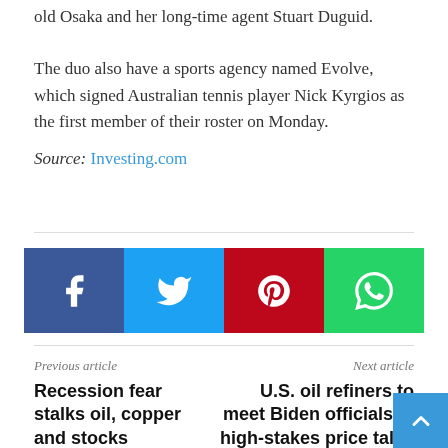old Osaka and her long-time agent Stuart Duguid.
The duo also have a sports agency named Evolve, which signed Australian tennis player Nick Kyrgios as the first member of their roster on Monday.
Source: Investing.com
[Figure (infographic): Social share buttons: Facebook (blue), Twitter (light blue), Pinterest (red), WhatsApp (green)]
Previous article
Recession fear stalks oil, copper and stocks
Next article
U.S. oil refiners to meet Biden officials in high-stakes price talks